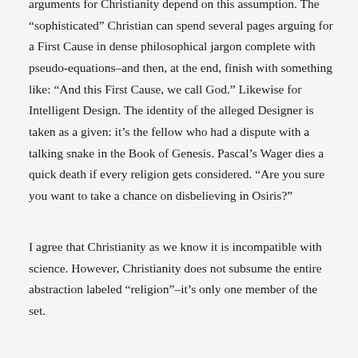arguments for Christianity depend on this assumption. The “sophisticated” Christian can spend several pages arguing for a First Cause in dense philosophical jargon complete with pseudo-equations–and then, at the end, finish with something like: “And this First Cause, we call God.” Likewise for Intelligent Design. The identity of the alleged Designer is taken as a given: it’s the fellow who had a dispute with a talking snake in the Book of Genesis. Pascal’s Wager dies a quick death if every religion gets considered. “Are you sure you want to take a chance on disbelieving in Osiris?”
I agree that Christianity as we know it is incompatible with science. However, Christianity does not subsume the entire abstraction labeled “religion”–it’s only one member of the set.